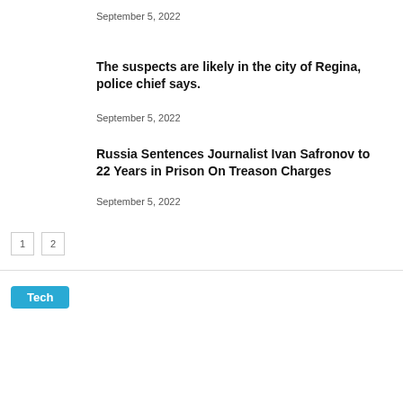September 5, 2022
The suspects are likely in the city of Regina, police chief says.
September 5, 2022
Russia Sentences Journalist Ivan Safronov to 22 Years in Prison On Treason Charges
September 5, 2022
1  2
Tech